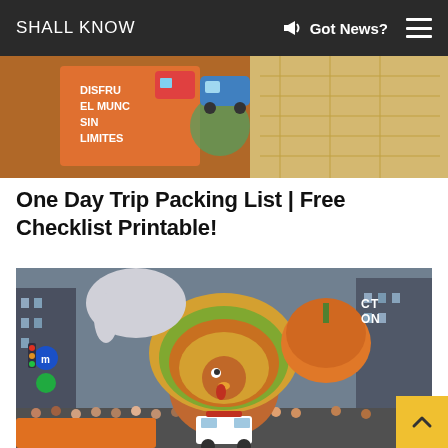SHALL KNOW | Got News?
[Figure (photo): Travel-themed photo showing items including a card with Spanish text 'DISFRU EL MUNC SIN LIMITES' and colorful travel graphics]
One Day Trip Packing List | Free Checklist Printable!
[Figure (photo): Macy's Thanksgiving Day Parade photo showing a large turkey float and balloon floats on a crowded New York City street]